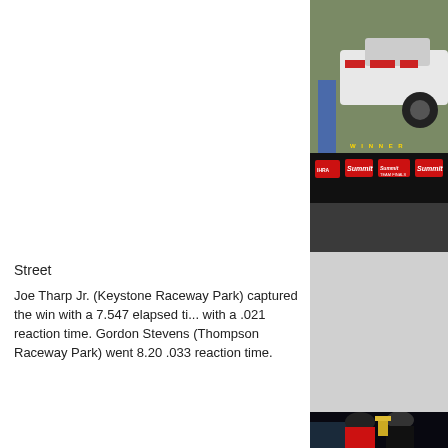[Figure (photo): Racing event photo showing a drag racing car with Summit Racing and IHRA banners/logos in the winner's circle, with sponsor signs visible]
Street
Joe Tharp Jr. (Keystone Raceway Park) captured the win with a 7.547 elapsed time with a .021 reaction time. Gordon Stevens (Thompson Raceway Park) went 8.20 .033 reaction time.
[Figure (photo): Nighttime photo of a woman in a red Team Double O shirt and a man in a black jacket holding a large trophy together, standing next to a dark-colored car. The man is wearing a red, white, and blue medal ribbon.]